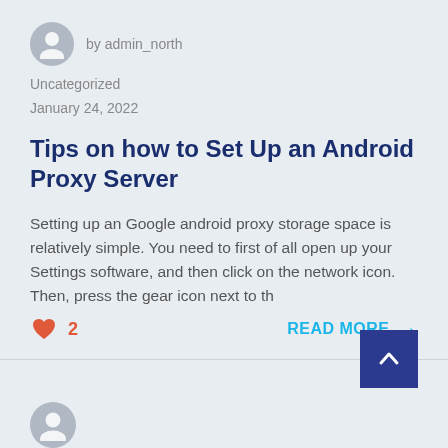by admin_north
Uncategorized
January 24, 2022
Tips on how to Set Up an Android Proxy Server
Setting up an Google android proxy storage space is relatively simple. You need to first of all open up your Settings software, and then click on the network icon. Then, press the gear icon next to th
2
READ MORE →